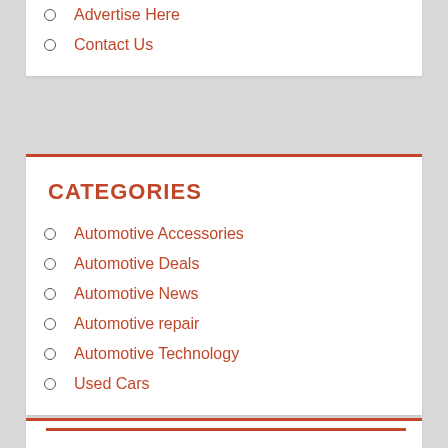Advertise Here
Contact Us
CATEGORIES
Automotive Accessories
Automotive Deals
Automotive News
Automotive repair
Automotive Technology
Used Cars